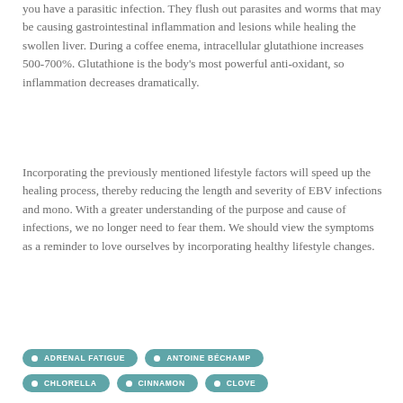you have a parasitic infection. They flush out parasites and worms that may be causing gastrointestinal inflammation and lesions while healing the swollen liver. During a coffee enema, intracellular glutathione increases 500-700%. Glutathione is the body's most powerful anti-oxidant, so inflammation decreases dramatically.
Incorporating the previously mentioned lifestyle factors will speed up the healing process, thereby reducing the length and severity of EBV infections and mono. With a greater understanding of the purpose and cause of infections, we no longer need to fear them. We should view the symptoms as a reminder to love ourselves by incorporating healthy lifestyle changes.
ADRENAL FATIGUE
ANTOINE BÉCHAMP
CHLORELLA
CINNAMON
CLOVE